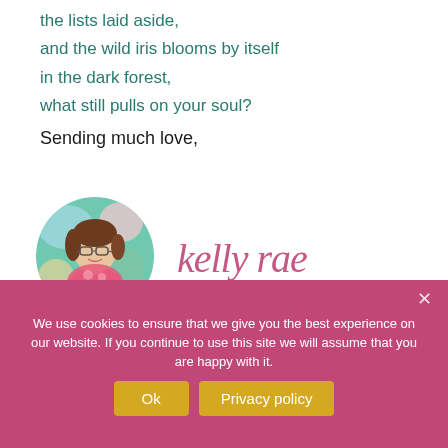the lists laid aside,
and the wild iris blooms by itself
in the dark forest,
what still pulls on your soul?
Sending much love,
[Figure (photo): Circular portrait photo of Kelly Rae, a smiling woman with glasses and brown hair, wearing a pink floral outfit, with colorful artwork in the background. Surrounded by illustrated floral elements.]
[Figure (illustration): Handwritten script signature reading 'kelly rae' in pink/rose cursive lettering.]
We use cookies to ensure that we give you the best experience on our website. If you continue to use this site we will assume that you are happy with it.
Ok
Privacy policy